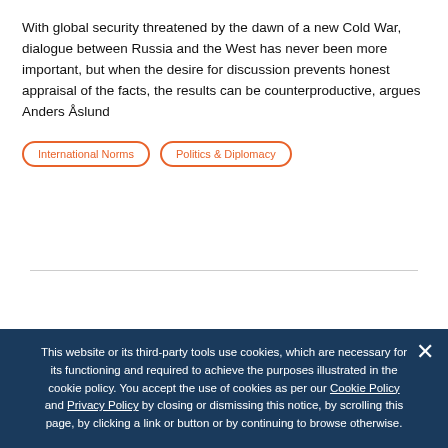With global security threatened by the dawn of a new Cold War, dialogue between Russia and the West has never been more important, but when the desire for discussion prevents honest appraisal of the facts, the results can be counterproductive, argues Anders Åslund
International Norms
Politics & Diplomacy
This website or its third-party tools use cookies, which are necessary for its functioning and required to achieve the purposes illustrated in the cookie policy. You accept the use of cookies as per our Cookie Policy and Privacy Policy by closing or dismissing this notice, by scrolling this page, by clicking a link or button or by continuing to browse otherwise.